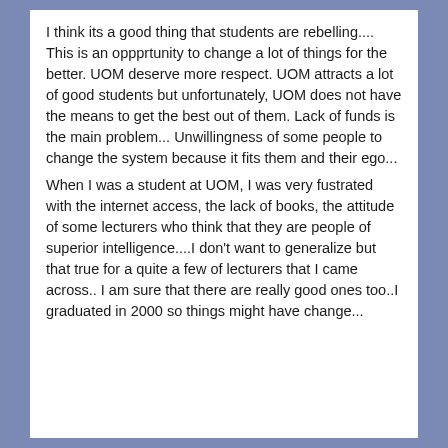I think its a good thing that students are rebelling.... This is an oppprtunity to change a lot of things for the better. UOM deserve more respect. UOM attracts a lot of good students but unfortunately, UOM does not have the means to get the best out of them. Lack of funds is the main problem... Unwillingness of some people to change the system because it fits them and their ego...
When I was a student at UOM, I was very fustrated with the internet access, the lack of books, the attitude of some lecturers who think that they are people of superior intelligence....I don't want to generalize but that true for a quite a few of lecturers that I came across.. I am sure that there are really good ones too..I graduated in 2000 so things might have change...